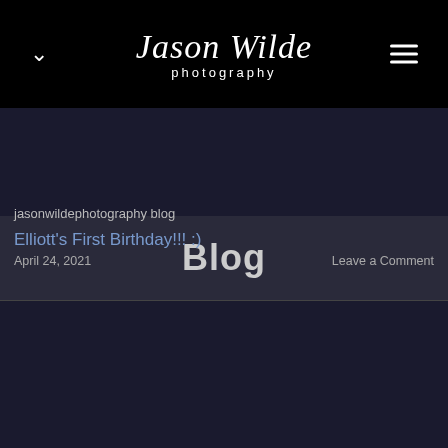Jason Wilde photography
Blog
jasonwildephotography blog
Elliott's First Birthday!!! :)
April 24, 2021    Leave a Comment
[Figure (photo): Portrait of a young toddler looking upward against a dark background with warm bokeh lights (golden/yellow circular bokeh) on the right side]